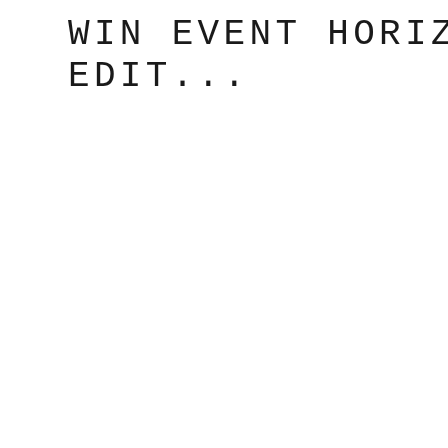WIN EVENT HORIZON ON LIMITED EDIT...